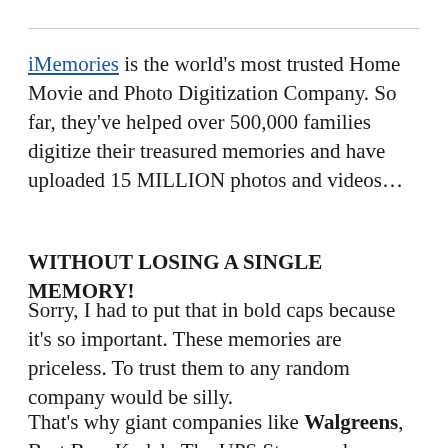iMemories is the world's most trusted Home Movie and Photo Digitization Company. So far, they've helped over 500,000 families digitize their treasured memories and have uploaded 15 MILLION photos and videos...
WITHOUT LOSING A SINGLE MEMORY!
Sorry, I had to put that in bold caps because it's so important. These memories are priceless. To trust them to any random company would be silly.
That's why giant companies like Walgreens, Best Buy, Kodak, The UPS Store, and...